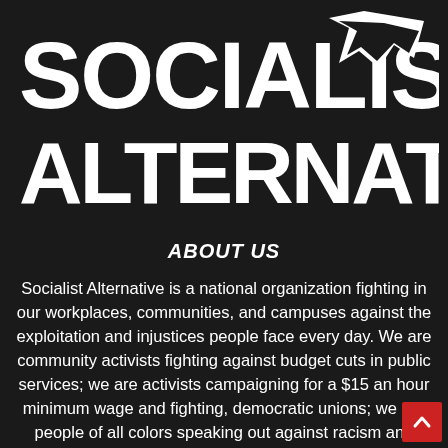[Figure (logo): Socialist Alternative logo with bold white block letters and a torn paper/flag graphic icon in the upper right corner, on a dark background]
ABOUT US
Socialist Alternative is a national organization fighting in our workplaces, communities, and campuses against the exploitation and injustices people face every day. We are community activists fighting against budget cuts in public services; we are activists campaigning for a $15 an hour minimum wage and fighting, democratic unions; we are people of all colors speaking out against racism and attacks on immigrants, students organizing against tuition hikes and w people of all genders fighting sexism and homophobia.